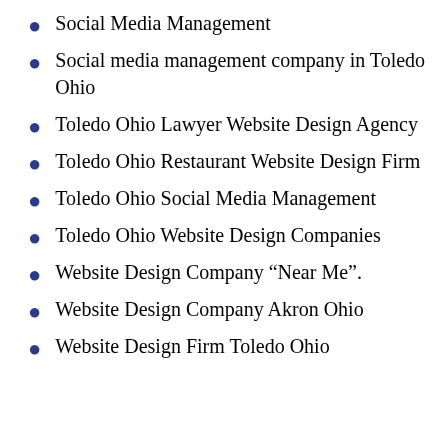Social Media Management
Social media management company in Toledo Ohio
Toledo Ohio Lawyer Website Design Agency
Toledo Ohio Restaurant Website Design Firm
Toledo Ohio Social Media Management
Toledo Ohio Website Design Companies
Website Design Company “Near Me”.
Website Design Company Akron Ohio
Website Design Firm Toledo Ohio